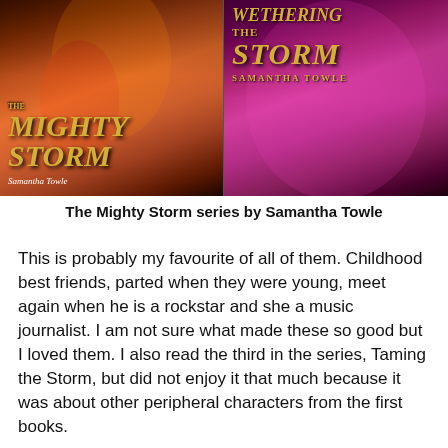[Figure (illustration): Two book covers side by side. Left: 'The Mighty Storm' by Samantha Towle with dark orange/fire background. Right: 'Wethering the Storm' by Samantha Towle with pink/purple background.]
The Mighty Storm series by Samantha Towle
This is probably my favourite of all of them. Childhood best friends, parted when they were young, meet again when he is a rockstar and she a music journalist. I am not sure what made these so good but I loved them. I also read the third in the series, Taming the Storm, but did not enjoy it that much because it was about other peripheral characters from the first books.